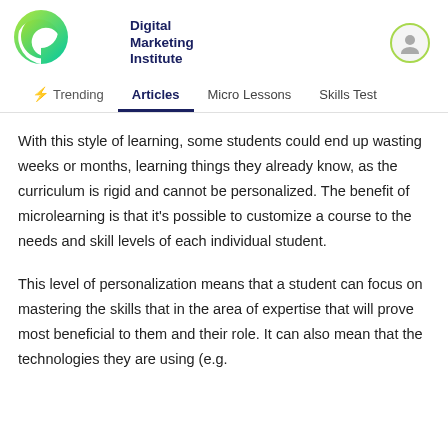Digital Marketing Institute
Trending  Articles  Micro Lessons  Skills Test
With this style of learning, some students could end up wasting weeks or months, learning things they already know, as the curriculum is rigid and cannot be personalized. The benefit of microlearning is that it's possible to customize a course to the needs and skill levels of each individual student.
This level of personalization means that a student can focus on mastering the skills that in the area of expertise that will prove most beneficial to them and their role. It can also mean that the technologies they are using (e.g.